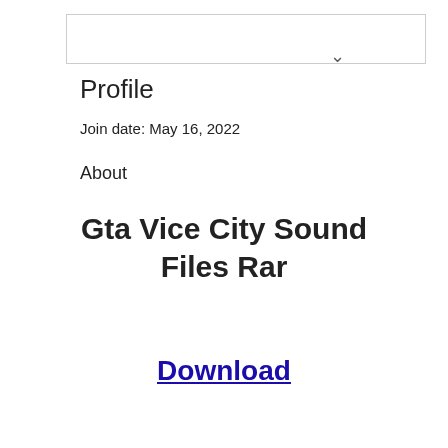[Figure (screenshot): Dropdown input box with a chevron/arrow icon on the right side]
Profile
Join date: May 16, 2022
About
Gta Vice City Sound Files Rar
Download